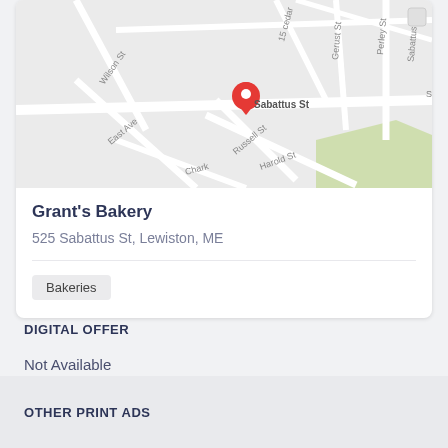[Figure (map): Street map showing location pin on Sabattus St near Russell St, Harold St, Wilson St, East Ave, Perley St, and other streets in Lewiston, ME area. Red location pin marker visible near center.]
Grant's Bakery
525 Sabattus St, Lewiston, ME
Bakeries
DIGITAL OFFER
Not Available
OTHER PRINT ADS